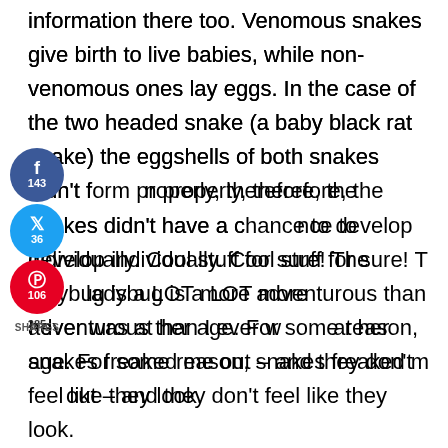information there too. Venomous snakes give birth to live babies, while non-venomous ones lay eggs. In the case of the two headed snake (a baby black rat snake) the eggshells of both snakes didn't form properly, therefore, the snakes didn't have a chance to develop individually. Cool stuff for sure! The ladybug is a LOT more adventurous than I ever was at her age. For some reason, snakes freaked me out – and they don't feel like they look.
[Figure (infographic): Social share buttons sidebar: Facebook (143), Twitter (36), Pinterest (106), total 285 shares]